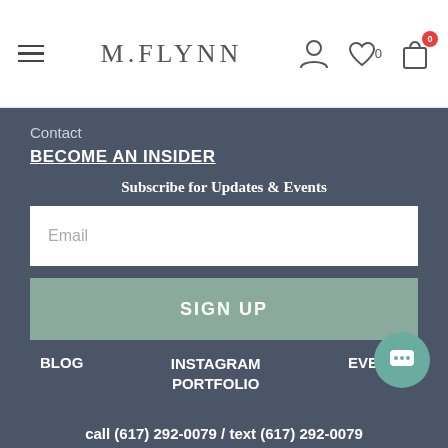M.FLYNN
Contact
BECOME AN INSIDER
Subscribe for Updates & Events
Email
SIGN UP
BLOG
INSTAGRAM PORTFOLIO
EVENTS
call (617) 292-0079 / text (617) 292-0079